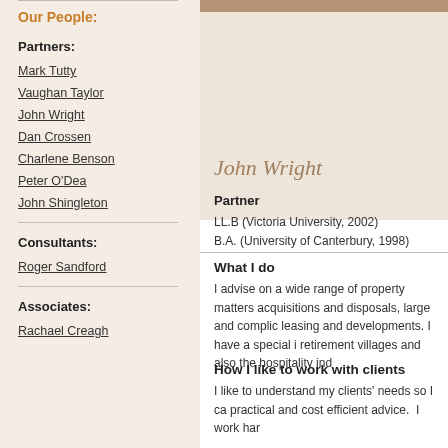Our People:
Partners:
Mark Tutty
Vaughan Taylor
John Wright
Dan Crossen
Charlene Benson
Peter O'Dea
John Shingleton
Consultants:
Roger Sandford
Associates:
Rachael Creagh
John Wright
Partner
LL.B (Victoria University, 2002)
B.A. (University of Canterbury, 1998)
What I do
I advise on a wide range of property matters acquisitions and disposals, large and complicated leasing and developments. I have a special i retirement villages and also the hospitality ind
How I like to work with clients
I like to understand my clients' needs so I ca practical and cost efficient advice. I work har